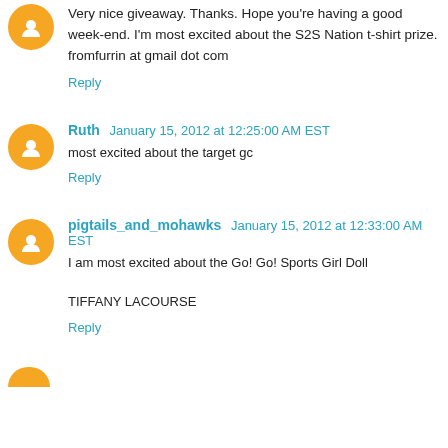Very nice giveaway. Thanks. Hope you're having a good week-end. I'm most excited about the S2S Nation t-shirt prize.
fromfurrin at gmail dot com
Reply
Ruth  January 15, 2012 at 12:25:00 AM EST
most excited about the target gc
Reply
pigtails_and_mohawks  January 15, 2012 at 12:33:00 AM EST
I am most excited about the Go! Go! Sports Girl Doll

TIFFANY LACOURSE
Reply